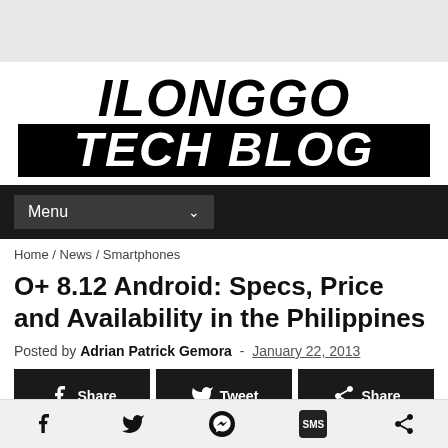[Figure (logo): Ilonggo Tech Blog logo — bold italic black text on white background with black banner for TECH BLOG]
Menu
Home / News / Smartphones
O+ 8.12 Android: Specs, Price and Availability in the Philippines
Posted by Adrian Patrick Gemora - January 22, 2013
[Figure (screenshot): Social share buttons: Share (Facebook), Tweet (Twitter), Share]
Social action bar icons: Facebook, Twitter, Messenger, SMS, Share